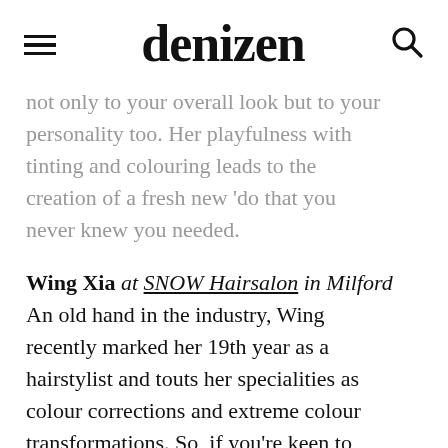denizen
not only to your overall look but to your personality too. Her playfulness with tinting and colouring leads to the creation of a fresh new ‘do that you never knew you needed.
Wing Xia at SNOW Hairsalon in Milford An old hand in the industry, Wing recently marked her 19th year as a hairstylist and touts her specialities as colour corrections and extreme colour transformations. So, if you’re keen to